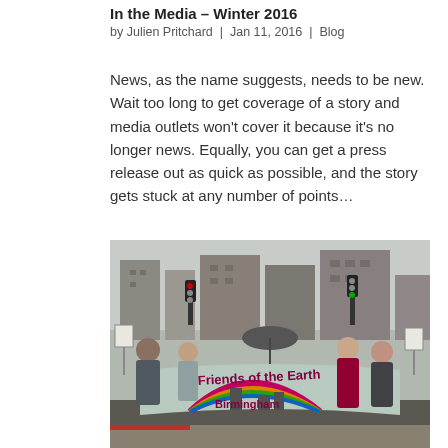In the Media – Winter 2016
by Julien Pritchard  |  Jan 11, 2016  |  Blog
News, as the name suggests, needs to be new. Wait too long to get coverage of a story and media outlets won't cover it because it's no longer news. Equally, you can get a press release out as quick as possible, and the story gets stuck at any number of points…
[Figure (photo): Group of protesters holding a 'Friends of the Earth Birmingham' banner with a rainbow design on a city street in winter.]